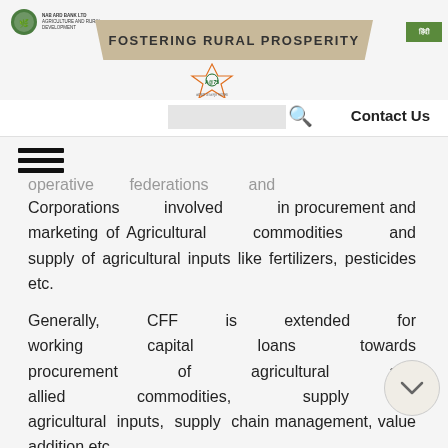FOSTERING RURAL PROSPERITY
operative federations and Corporations involved in procurement and marketing of Agricultural commodities and supply of agricultural inputs like fertilizers, pesticides etc.
Generally, CFF is extended for working capital loans towards procurement of agricultural and allied commodities, supply of agricultural inputs, supply chain management, value addition etc.